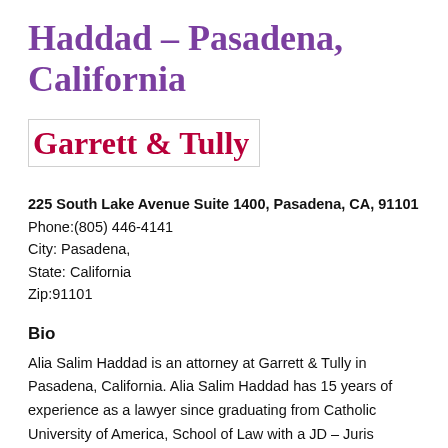Haddad – Pasadena, California
Garrett & Tully
225 South Lake Avenue Suite 1400, Pasadena, CA, 91101
Phone:(805) 446-4141
City: Pasadena,
State: California
Zip:91101
Bio
Alia Salim Haddad is an attorney at Garrett & Tully in Pasadena, California. Alia Salim Haddad has 15 years of experience as a lawyer since graduating from Catholic University of America, School of Law with a JD – Juris